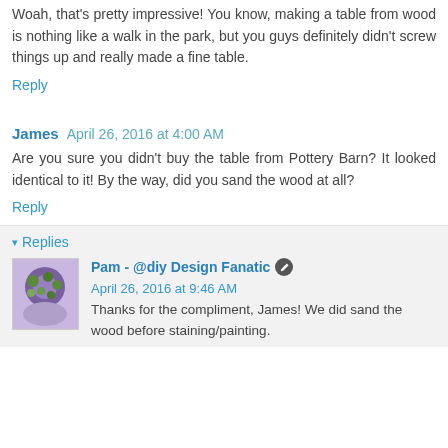Woah, that's pretty impressive! You know, making a table from wood is nothing like a walk in the park, but you guys definitely didn't screw things up and really made a fine table.
Reply
James  April 26, 2016 at 4:00 AM
Are you sure you didn't buy the table from Pottery Barn? It looked identical to it! By the way, did you sand the wood at all?
Reply
Replies
Pam - @diy Design Fanatic  April 26, 2016 at 9:46 AM
Thanks for the compliment, James! We did sand the wood before staining/painting.